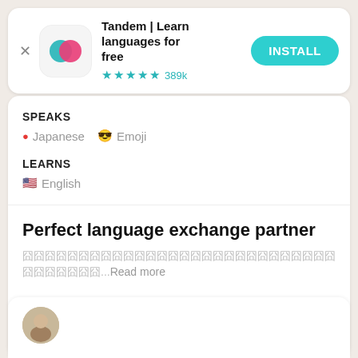[Figure (screenshot): Tandem app icon - overlapping teal and pink circles on light background]
Tandem | Learn languages for free
★★★★½ 389k
INSTALL
SPEAKS
🔴 Japanese   😎 Emoji
LEARNS
🇺🇸 English
Perfect language exchange partner
囧囧囧囧囧囧囧囧囧囧囧囧囧囧囧囧囧囧囧囧囧囧囧囧囧囧囧...Read more
Get the app
[Figure (photo): Partial view of a profile photo at the bottom of the page]